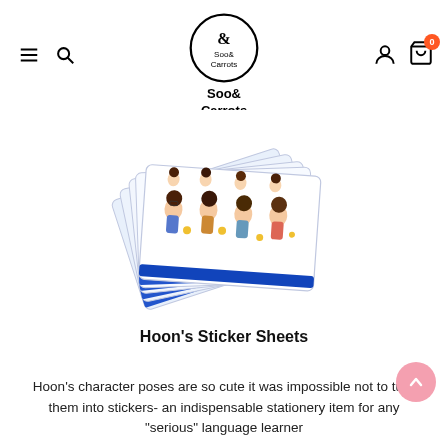Soo& Carrots
[Figure (photo): Multiple sticker sheets fanned out showing chibi/cartoon character illustrations of 'Hoon' in various poses and outfits, with a blue border at the bottom of each sheet]
Hoon's Sticker Sheets
Hoon's character poses are so cute it was impossible not to turn them into stickers- an indispensable stationery item for any "serious" language learner